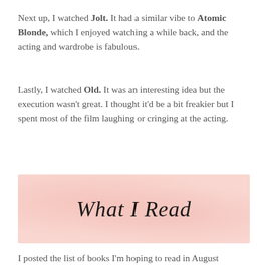Next up, I watched Jolt. It had a similar vibe to Atomic Blonde, which I enjoyed watching a while back, and the acting and wardrobe is fabulous.
Lastly, I watched Old. It was an interesting idea but the execution wasn't great. I thought it'd be a bit freakier but I spent most of the film laughing or cringing at the acting.
[Figure (illustration): Pink/blush toned banner image with cursive script text reading 'What I Read']
I posted the list of books I'm hoping to read in August yesterday but – before I get into those books – I might as well tell you what I read in July.